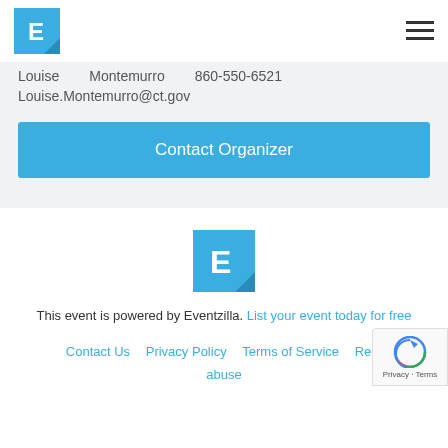[Figure (logo): Eventzilla logo - blue square with white E letter]
Louise   Montemurro   860-550-6521
Louise.Montemurro@ct.gov
Contact Organizer
[Figure (logo): Eventzilla footer logo - blue square with white E letter]
This event is powered by Eventzilla. List your event today for free
Contact Us   Privacy Policy   Terms of Service   Re... abuse